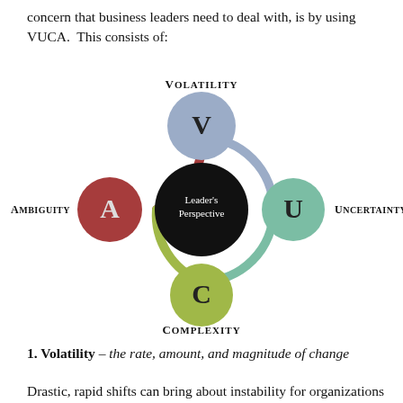concern that business leaders need to deal with, is by using VUCA.  This consists of:
[Figure (infographic): VUCA diagram showing four colored circles (Volatility - blue/top, Uncertainty - green/right, Complexity - yellow-green/bottom, Ambiguity - red/left) connected by a ring around a central black circle labeled "Leader's Perspective". Each circle is labeled with its initial letter (V, U, C, A). Labels for each concept appear outside the ring.]
1. Volatility - the rate, amount, and magnitude of change
Drastic, rapid shifts can bring about instability for organizations and leaders, but even the